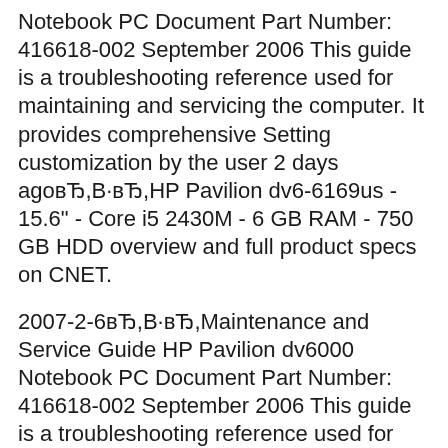Notebook PC Document Part Number: 416618-002 September 2006 This guide is a troubleshooting reference used for maintaining and servicing the computer. It provides comprehensive Setting customization by the user 2 days agoвЂ,В·вЂ,HP Pavilion dv6-6169us - 15.6" - Core i5 2430M - 6 GB RAM - 750 GB HDD overview and full product specs on CNET.
2007-2-6вЂ,В·вЂ,Maintenance and Service Guide HP Pavilion dv6000 Notebook PC Document Part Number: 416618-002 September 2006 This guide is a troubleshooting reference used for maintaining and servicing the computer. It provides comprehensive Setting